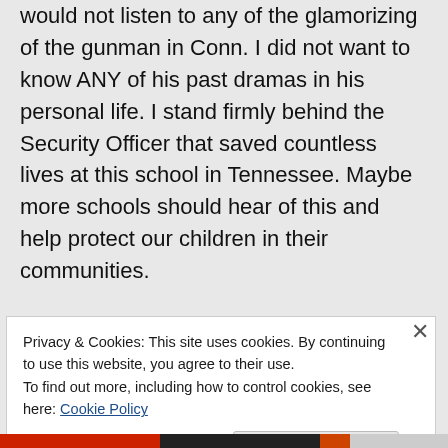would not listen to any of the glamorizing of the gunman in Conn. I did not want to know ANY of his past dramas in his personal life. I stand firmly behind the Security Officer that saved countless lives at this school in Tennessee. Maybe more schools should hear of this and help protect our children in their communities.
↳ Reply
Privacy & Cookies: This site uses cookies. By continuing to use this website, you agree to their use.
To find out more, including how to control cookies, see here: Cookie Policy
Close and accept